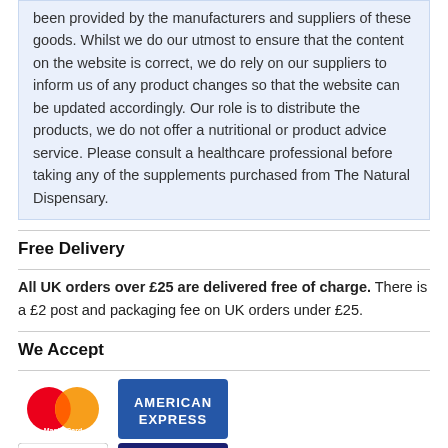been provided by the manufacturers and suppliers of these goods. Whilst we do our utmost to ensure that the content on the website is correct, we do rely on our suppliers to inform us of any product changes so that the website can be updated accordingly. Our role is to distribute the products, we do not offer a nutritional or product advice service. Please consult a healthcare professional before taking any of the supplements purchased from The Natural Dispensary.
Free Delivery
All UK orders over £25 are delivered free of charge. There is a £2 post and packaging fee on UK orders under £25.
We Accept
[Figure (logo): MasterCard logo and American Express logo side by side, followed by Discover Network and Visa logos below]